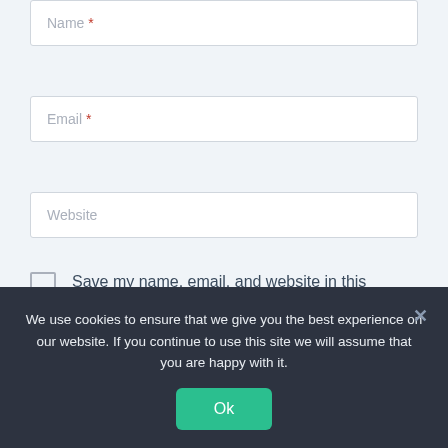Name *
Email *
Website
Save my name, email, and website in this browser for the next time I comment.
We use cookies to ensure that we give you the best experience on our website. If you continue to use this site we will assume that you are happy with it.
Ok